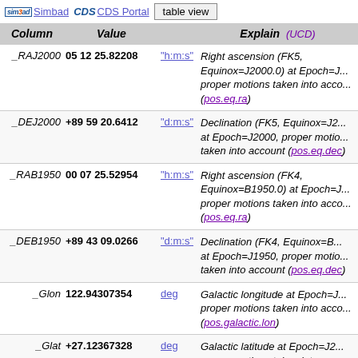Simbad  CDS Portal  table view
| Column | Value |  | Explain (UCD) |
| --- | --- | --- | --- |
| _RAJ2000 | 05 12 25.82208 | "h:m:s" | Right ascension (FK5, Equinox=J2000.0) at Epoch=J... proper motions taken into acco... (pos.eq.ra) |
| _DEJ2000 | +89 59 20.6412 | "d:m:s" | Declination (FK5, Equinox=J2... at Epoch=J2000, proper motio... taken into account (pos.eq.dec) |
| _RAB1950 | 00 07 25.52954 | "h:m:s" | Right ascension (FK4, Equinox=B1950.0) at Epoch=J... proper motions taken into acco... (pos.eq.ra) |
| _DEB1950 | +89 43 09.0266 | "d:m:s" | Declination (FK4, Equinox=B... at Epoch=J1950, proper motio... taken into account (pos.eq.dec) |
| _Glon | 122.94307354 | deg | Galactic longitude at Epoch=J... proper motions taken into acco... (pos.galactic.lon) |
| _Glat | +27.12367328 | deg | Galactic latitude at Epoch=J2... proper motions taken into acco... (pos.galactic.lat) |